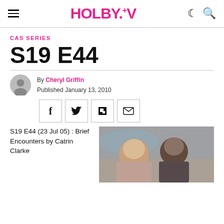HOLBY.TV
CAS SERIES
S19 E44
By Cheryl Griffin
Published January 13, 2010
[Figure (other): Social share buttons: Facebook, Twitter, Flipboard, Email]
S19 E44 (23 Jul 05) : Brief Encounters by Catrin Clarke
[Figure (photo): Photo of two people, one with blonde hair and one with dark hair, outdoors with hills in background]